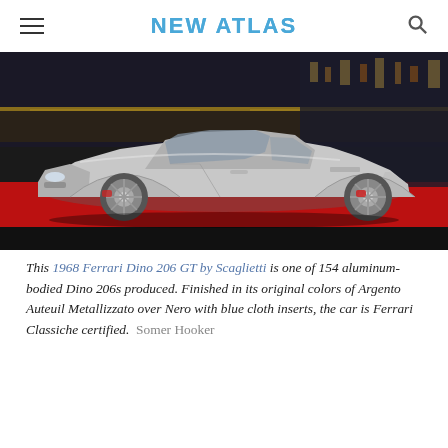NEW ATLAS
[Figure (photo): Side profile of a silver 1968 Ferrari Dino 206 GT by Scaglietti displayed at a motor show on a red carpet, with a colorful illuminated backdrop.]
This 1968 Ferrari Dino 206 GT by Scaglietti is one of 154 aluminum-bodied Dino 206s produced. Finished in its original colors of Argento Auteuil Metallizzato over Nero with blue cloth inserts, the car is Ferrari Classiche certified.  Somer Hooker